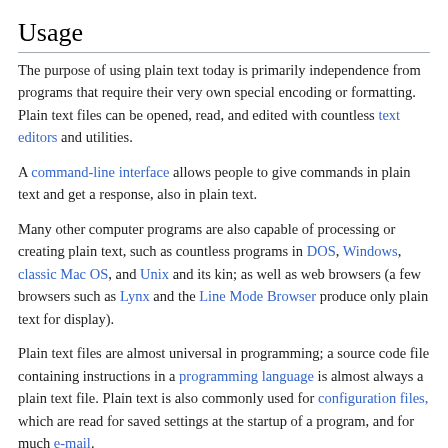Usage
The purpose of using plain text today is primarily independence from programs that require their very own special encoding or formatting. Plain text files can be opened, read, and edited with countless text editors and utilities.
A command-line interface allows people to give commands in plain text and get a response, also in plain text.
Many other computer programs are also capable of processing or creating plain text, such as countless programs in DOS, Windows, classic Mac OS, and Unix and its kin; as well as web browsers (a few browsers such as Lynx and the Line Mode Browser produce only plain text for display).
Plain text files are almost universal in programming; a source code file containing instructions in a programming language is almost always a plain text file. Plain text is also commonly used for configuration files, which are read for saved settings at the startup of a program, and for much e-mail.
As a general rule, plain text files are...